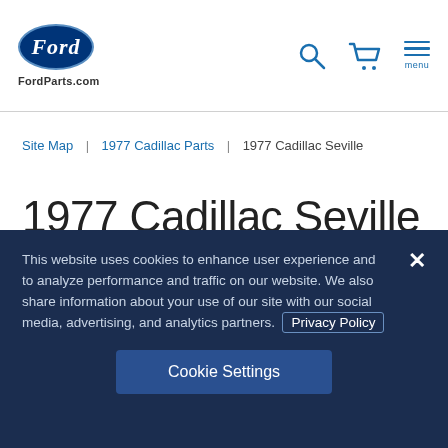FordParts.com
Site Map | 1977 Cadillac Parts | 1977 Cadillac Seville
1977 Cadillac Seville Parts & Accessories
This website uses cookies to enhance user experience and to analyze performance and traffic on our website. We also share information about your use of our site with our social media, advertising, and analytics partners. Privacy Policy
Cookie Settings